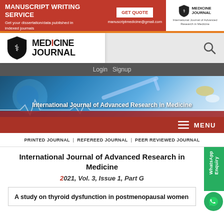[Figure (infographic): Top advertisement banner with red background: MANUSCRIPT WRITING SERVICE with GET QUOTE button and manuscriptmedicine@gmail.com email. Right side shows Medicine Journal logo on white background.]
[Figure (logo): Medicine Journal logo with shield/caduceus icon and text MEDICINE JOURNAL]
Login  Signup
[Figure (photo): Hero banner image showing medical equipment (syringes, pills) with text: International Journal of Advanced Research in Medicine]
MENU
PRINTED JOURNAL  |  REFEREED JOURNAL  |  PEER REVIEWED JOURNAL
International Journal of Advanced Research in Medicine
2021, Vol. 3, Issue 1, Part G
A study on thyroid dysfunction in postmenopausal women